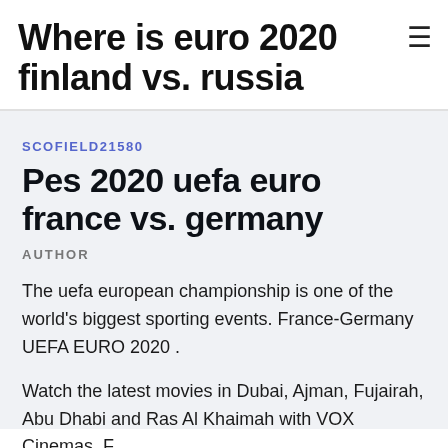Where is euro 2020 finland vs. russia
SCOFIELD21580
Pes 2020 uefa euro france vs. germany
AUTHOR
The uefa european championship is one of the world's biggest sporting events. France-Germany UEFA EURO 2020 .
Watch the latest movies in Dubai, Ajman, Fujairah, Abu Dhabi and Ras Al Khaimah with VOX Cinemas. F...